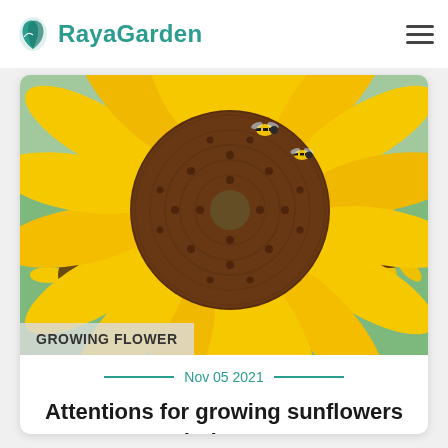RayaGarden
[Figure (photo): Close-up photo of a large sunflower with yellow petals and a dark brown center disk, with two bumblebees on it, and smaller sunflowers visible in the background.]
GROWING FLOWER
Nov 05 2021
Attentions for growing sunflowers indoors